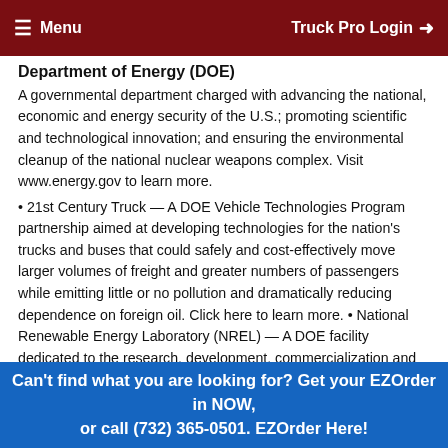Menu   Truck Pro Login
Department of Energy (DOE)
A governmental department charged with advancing the national, economic and energy security of the U.S.; promoting scientific and technological innovation; and ensuring the environmental cleanup of the national nuclear weapons complex. Visit www.energy.gov to learn more.
21st Century Truck — A DOE Vehicle Technologies Program partnership aimed at developing technologies for the nation's trucks and buses that could safely and cost-effectively move larger volumes of freight and greater numbers of passengers while emitting little or no pollution and dramatically reducing dependence on foreign oil. Click here to learn more.
National Renewable Energy Laboratory (NREL) — A DOE facility dedicated to the research, development, commercialization and deployment of renewable energy and energy efficiency technologies. Visit www.nrel.gov to learn more.
Deflection Rate
Used in rating springs to determine the number of pounds necessary to deflect a spring one inch. For torsion bars, it is a one-inch deflection of
Can't find what you are looking for? Get your EZOrder in NOW, or call (732) 365-0501. EZOrder Here!